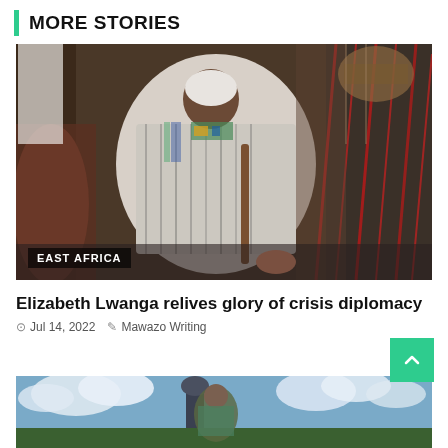MORE STORIES
[Figure (photo): A woman in traditional East African attire seated with woven textiles around her, EAST AFRICA tag overlay]
Elizabeth Lwanga relives glory of crisis diplomacy
Jul 14, 2022  Mawazo Writing
[Figure (photo): Bottom partial image of a monument or statue against a bright sky with clouds]